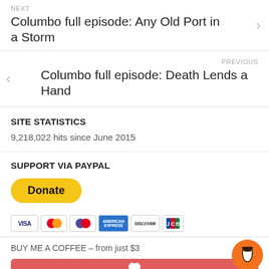NEXT
Columbo full episode: Any Old Port in a Storm
PREVIOUS
Columbo full episode: Death Lends a Hand
SITE STATISTICS
9,218,022 hits since June 2015
SUPPORT VIA PAYPAL
[Figure (other): PayPal Donate button with payment card icons (Visa, Mastercard, Maestro, American Express, Discover, JCB)]
BUY ME A COFFEE – from just $3
[Figure (other): Orange coffee cup button icon (circular, orange background)]
[Figure (other): Red Buy Me a Coffee button (partially visible at bottom)]